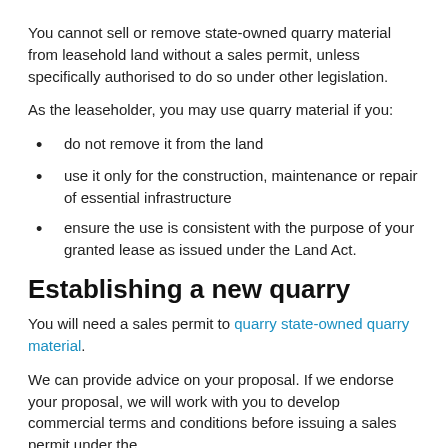You cannot sell or remove state-owned quarry material from leasehold land without a sales permit, unless specifically authorised to do so under other legislation.
As the leaseholder, you may use quarry material if you:
do not remove it from the land
use it only for the construction, maintenance or repair of essential infrastructure
ensure the use is consistent with the purpose of your granted lease as issued under the Land Act.
Establishing a new quarry
You will need a sales permit to quarry state-owned quarry material.
We can provide advice on your proposal. If we endorse your proposal, we will work with you to develop commercial terms and conditions before issuing a sales permit under the